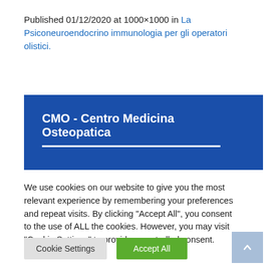Published 01/12/2020 at 1000×1000 in La Psiconeuroendocrino immunologia per gli operatori olistici.
[Figure (screenshot): Blue banner with white bold text 'CMO - Centro Medicina Osteopatica' followed by a white horizontal rule and a small white decorative element below]
We use cookies on our website to give you the most relevant experience by remembering your preferences and repeat visits. By clicking "Accept All", you consent to the use of ALL the cookies. However, you may visit "Cookie Settings" to provide a controlled consent.